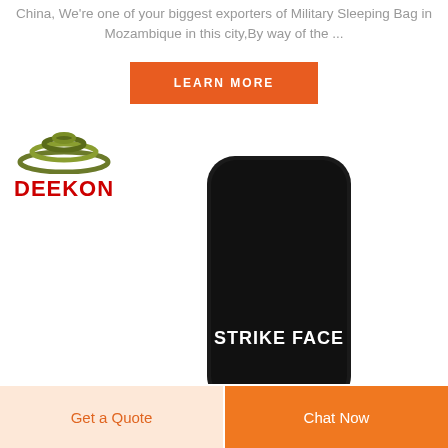China, We're one of your biggest exporters of Military Sleeping Bag in Mozambique in this city,By way of the ...
LEARN MORE
[Figure (logo): DEEKON brand logo with camouflage wave icon above red DEEKON text]
[Figure (photo): Black ballistic armor plate with STRIKE FACE text printed in white on the lower portion]
Get a Quote
Chat Now